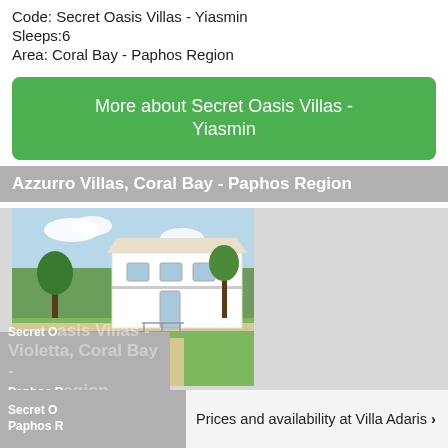Code: Secret Oasis Villas - Yiasmin
Sleeps:6
Area: Coral Bay - Paphos Region
More about Secret Oasis Villas - Yiasmin
Azzurro Villas, Coral Bay - Paphos Region
[Figure (photo): Exterior photo of Azzurro Villas showing white villa building with pool and garden]
Name: Azzurro Villas
Code: Azzurro Villas
Sleeps:6
Area: Coral Bay - Paphos Region
More about Azzurro Villas
Secret Oasis Villas - Violetta, Coral Bay - Paphos Region
Prices and availability at Villa Adaris >